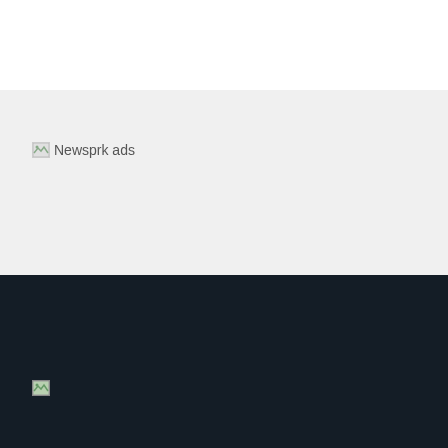[Figure (other): Broken image placeholder with alt text 'Newsprk ads' on a light gray background]
[Figure (other): Small broken image placeholder logo on dark navy background]
About.
Souranshi is all about fashion and lifestyle. Who targets